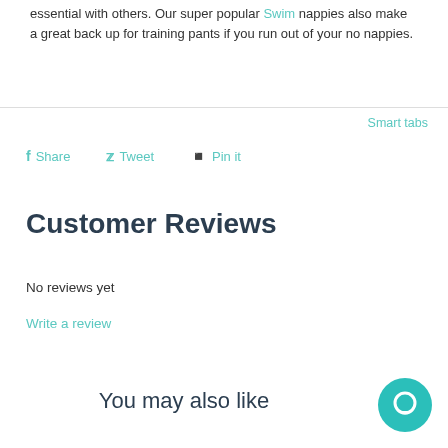essential with others. Our super popular Swim nappies also make a great back up for training pants if you run out of your no nappies.
Smart tabs
f Share   Tweet   Pin it
Customer Reviews
No reviews yet
Write a review
You may also like
[Figure (illustration): Teal circular chat bubble icon in bottom-right corner]